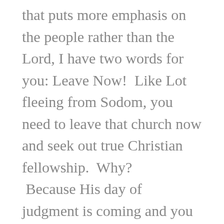that puts more emphasis on the people rather than the Lord, I have two words for you: Leave Now!  Like Lot fleeing from Sodom, you need to leave that church now and seek out true Christian fellowship.  Why?  Because His day of judgment is coming and you won't want to be connected at the hip with those whose future can be described as vomit on the floor.

Leave now!